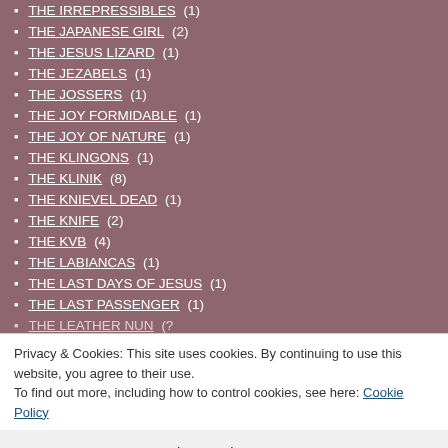THE IRREPRESSIBLES (1)
THE JAPANESE GIRL (2)
THE JESUS LIZARD (1)
THE JEZABELS (1)
THE JOSSERS (1)
THE JOY FORMIDABLE (1)
THE JOY OF NATURE (1)
THE KLINGONS (1)
THE KLINIK (8)
THE KNIEVEL DEAD (1)
THE KNIFE (2)
THE KVB (4)
THE LABIANCAS (1)
THE LAST DAYS OF JESUS (1)
THE LAST PASSENGER (1)
THE LEATHER NUN (?) [truncated]
Privacy & Cookies: This site uses cookies. By continuing to use this website, you agree to their use. To find out more, including how to control cookies, see here: Cookie Policy
Close and accept
THE LOST SYNDICATE (3)